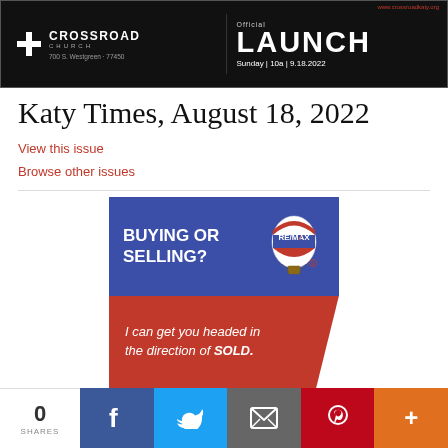[Figure (illustration): Crossroad Church advertisement banner. Dark background with church logo, text 'CROSSROAD CHURCH', '700 S. Westgreen · 77450', 'Official LAUNCH Sunday | 10a | 9.18.2022']
Katy Times, August 18, 2022
View this issue
Browse other issues
[Figure (illustration): RE/MAX advertisement. Blue top section with 'BUYING OR SELLING?' text and RE/MAX hot air balloon logo. Red bottom section with text 'I can get you headed in the direction of SOLD.']
0 SHARES | Facebook | Twitter | Email | Pinterest | More